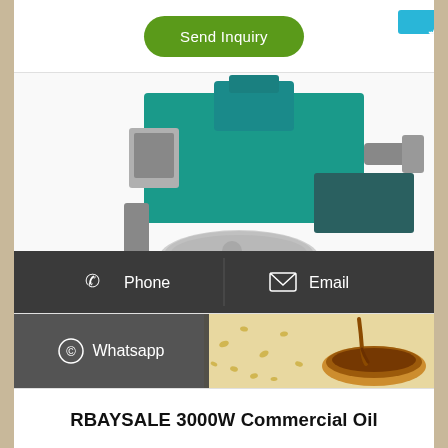[Figure (screenshot): Green 'Send Inquiry' button on white background]
[Figure (photo): Commercial oil press machine, teal/green colored, with silver bowl component, on white background. Below the machine is a dark semi-transparent contact bar with Phone and Email options.]
[Figure (photo): Bottom row showing Whatsapp button on dark background, with seeds and oil bowl photo on the right side.]
RBAYSALE 3000W Commercial Oil